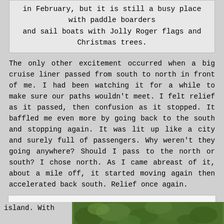in February, but it is still a busy place with paddle boarders and sail boats with Jolly Roger flags and Christmas trees.
The only other excitement occurred when a big cruise liner passed from south to north in front of me. I had been watching it for a while to make sure our paths wouldn't meet. I felt relief as it passed, then confusion as it stopped. It baffled me even more by going back to the south and stopping again. It was lit up like a city and surely full of passengers. Why weren't they going anywhere? Should I pass to the north or south? I chose north. As I came abreast of it, about a mile off, it started moving again then accelerated back south. Relief once again.
Privacy & Cookies: This site uses cookies. By continuing to use this website, you agree to their use. To find out more, including how to control cookies, see here: Cookie Policy
Close and accept
island. With